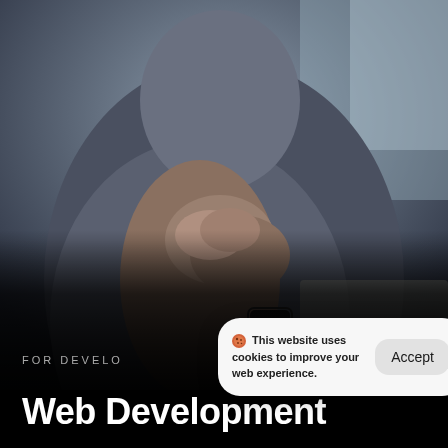[Figure (photo): Person sitting, hands clasped together near face, wearing grey t-shirt and bracelet/watch, with a laptop visible, blurred background with window light]
🍪 This website uses cookies to improve your web experience. Accept
FOR DEVELOPERS
Web Development